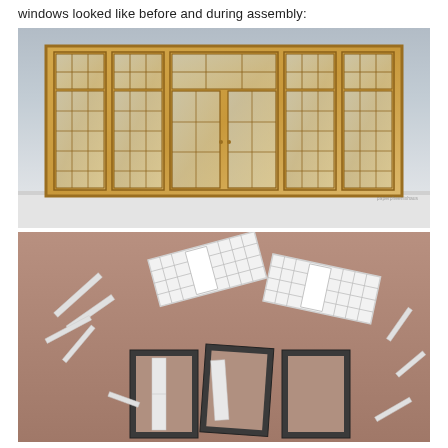windows looked like before and during assembly:
[Figure (photo): Assembled dollhouse wooden window panel with five window bays featuring grid muntins and transom panes, displayed against a gray background on a white shelf surface. A small watermark reads 'paperpheenixhaus'.]
[Figure (photo): Miniature window components laid out on a brown/tan mat surface: white diagonal paper strips on left, two white paper window grid templates (top), dark gray frame pieces with inner cutouts (bottom center and right), and small white rectangular sticks scattered around.]